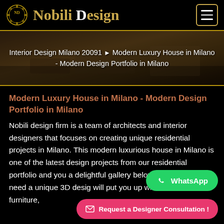Nobili Design
[Figure (screenshot): Hero/breadcrumb banner with interior design room photo background showing luxury furniture, with white text breadcrumb navigation]
Modern Luxury House in Milano - Modern Design Portfolio in Milano
Nobili design firm is a team of architects and interior designers that focuses on creating unique residential projects in Milano. This modern luxurious house in Milano is one of the latest design projects from our residential portfolio and you a delightful gallery below. As long as you need a unique 3D desig will put you up with modern Italian furniture,